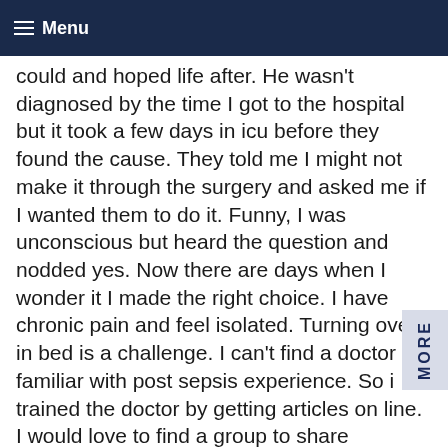Menu
could and hoped life after. He wasn't diagnosed by the time I got to the hospital but it took a few days in icu before they found the cause. They told me I might not make it through the surgery and asked me if I wanted them to do it. Funny, I was unconscious but heard the question and nodded yes. Now there are days when I wonder it I made the right choice. I have chronic pain and feel isolated. Turning over in bed is a challenge. I can't find a doctor familiar with post sepsis experience. So i trained the doctor by getting articles on line. I would love to find a group to share experiences with. I'd love to go to a doctor who